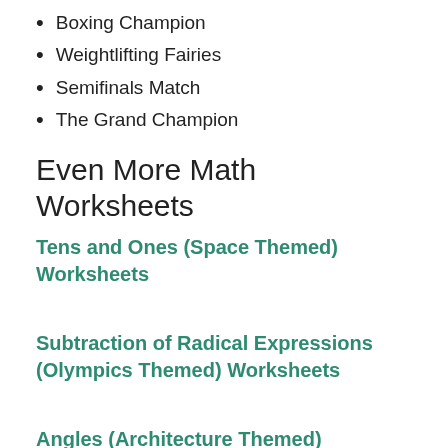Boxing Champion
Weightlifting Fairies
Semifinals Match
The Grand Champion
Even More Math Worksheets
Tens and Ones (Space Themed) Worksheets
Subtraction of Radical Expressions (Olympics Themed) Worksheets
Angles (Architecture Themed) Worksheets